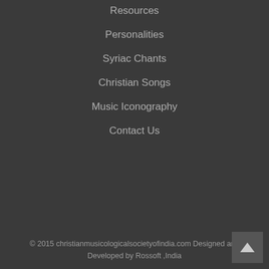Resources
Personalities
Syriac Chants
Christian Songs
Music Iconography
Contact Us
© 2015 christianmusicologicalsocietyofindia.com Designed and Developed by Rossoft ,India